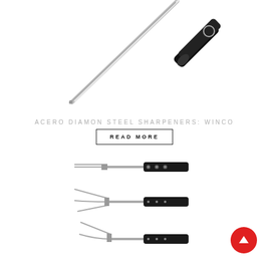[Figure (photo): A long steel knife sharpening rod with black handle and ring at the top, displayed diagonally against white background]
ACERO DIAMON STEEL SHARPENERS: WINCO
READ MORE
[Figure (photo): Three meat forks / carving forks with black handles arranged vertically, showing different fork styles with riveted black handles]
[Figure (other): Red circular scroll-to-top button with upward arrow]